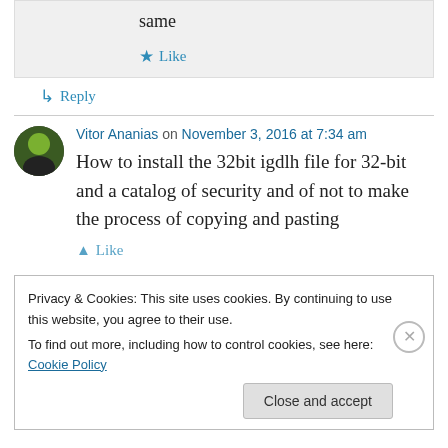same
★ Like
↳ Reply
Vitor Ananias on November 3, 2016 at 7:34 am
How to install the 32bit igdlh file for 32-bit and a catalog of security and of not to make the process of copying and pasting
Privacy & Cookies: This site uses cookies. By continuing to use this website, you agree to their use.
To find out more, including how to control cookies, see here: Cookie Policy
Close and accept